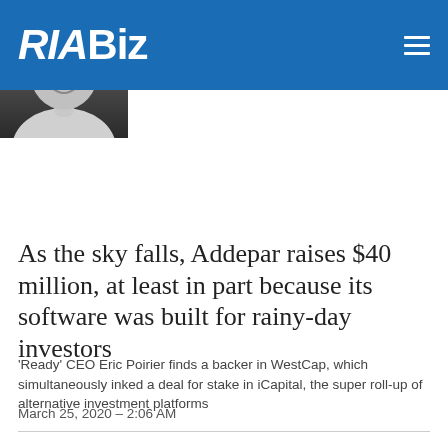RIABiz
[Figure (photo): Black and white headshot photo of a man with glasses and medium-length hair, wearing a light-colored shirt, smiling]
As the sky falls, Addepar raises $40 million, at least in part because its software was built for rainy-day investors
'Ready' CEO Eric Poirier finds a backer in WestCap, which simultaneously inked a deal for stake in iCapital, the super roll-up of alternative investment platforms
March 25, 2020 – 2:06 AM